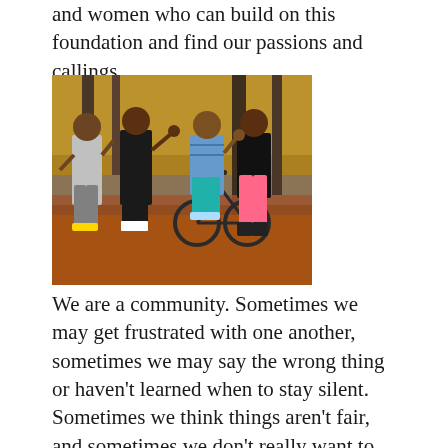and women who can build on this foundation and find our passions and callings.
[Figure (photo): Four young men standing outdoors in a wooded area with autumn foliage; one holds a bicycle. They are posing together and smiling.]
We are a community. Sometimes we may get frustrated with one another, sometimes we may say the wrong thing or haven't learned when to stay silent. Sometimes we think things aren't fair, and sometimes we don't really want to get up in